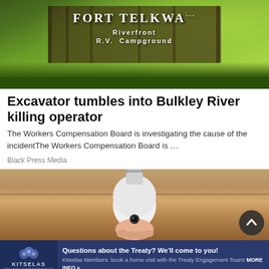[Figure (photo): Photo of Fort Telkwa Riverfront R.V. Campground wooden sign with trees and green foliage in background]
Excavator tumbles into Bulkley River killing operator
The Workers Compensation Board is investigating the cause of the incidentThe Workers Compensation Board is …
Black Press Media
[Figure (photo): Photo of a hand holding a white light bulb-shaped security camera indoors]
[Figure (other): Kitselas advertisement banner: Questions about the Treaty? We'll come to you! Kitselas Members: book a home visit with the Treaty Engagement Team! MORE INFO »]